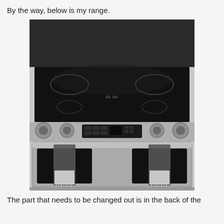By the way, below is my range.
[Figure (photo): Overhead/front view of a stainless steel slide-in electric range with a black glass cooktop showing four burner rings, a control panel with digital display and knobs on both sides, a double oven door with two decorative kitchen towels hanging from the handle, and a gray concrete floor in the background.]
The part that needs to be changed out is in the back of the